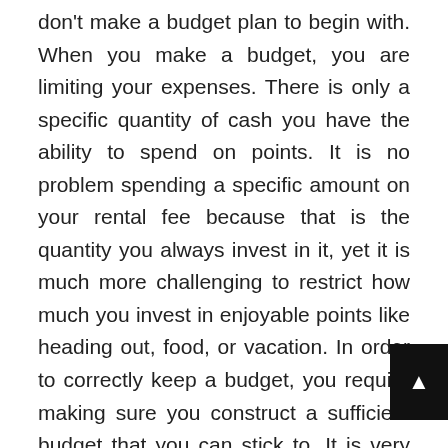don't make a budget plan to begin with. When you make a budget, you are limiting your expenses. There is only a specific quantity of cash you have the ability to spend on points. It is no problem spending a specific amount on your rental fee because that is the quantity you always invest in it, yet it is much more challenging to restrict how much you invest in enjoyable points like heading out, food, or vacation. In order to correctly keep a budget, you require making sure you construct a sufficient budget that you can stick to. It is very easy to state at first that you are going to spend fifty percent as much money on food than you normally do saving $100 a month, once you hit the supermarket, you understand that a lot what you spend your money on is truly requirement.